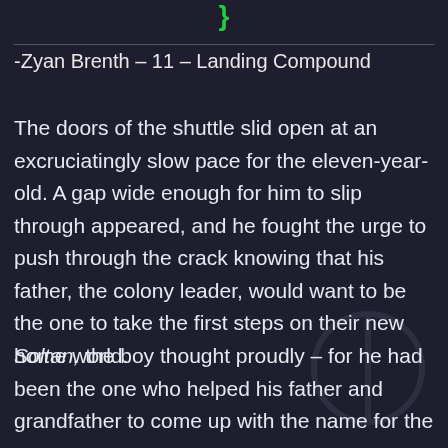-Zyan Brenth – 11 – Landing Compound
The doors of the shuttle slid open at an excruciatingly slow pace for the eleven-year-old. A gap wide enough for him to slip through appeared, and he fought the urge to push through the crack knowing that his father, the colony leader, would want to be the one to take the first steps on their new home world.
Soltan, the boy thought proudly – for he had been the one who helped his father and grandfather to come up with the name for the